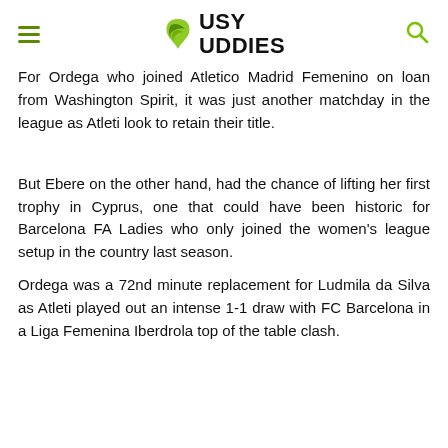Busy Buddies
For Ordega who joined Atletico Madrid Femenino on loan from Washington Spirit, it was just another matchday in the league as Atleti look to retain their title.
But Ebere on the other hand, had the chance of lifting her first trophy in Cyprus, one that could have been historic for Barcelona FA Ladies who only joined the women's league setup in the country last season.
Ordega was a 72nd minute replacement for Ludmila da Silva as Atleti played out an intense 1-1 draw with FC Barcelona in a Liga Femenina Iberdrola top of the table clash.